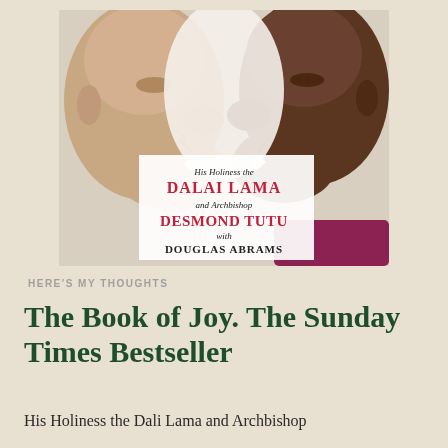[Figure (photo): Book cover of 'The Book of Joy' showing two faces (the Dalai Lama on the left, Archbishop Desmond Tutu on the right) facing each other and smiling. The center shows text: 'His Holiness the DALAI LAMA and Archbishop DESMOND TUTU with DOUGLAS ABRAMS']
HERE'S MY THOUGHTS
The Book of Joy. The Sunday Times Bestseller
His Holiness the Dali Lama and Archbishop